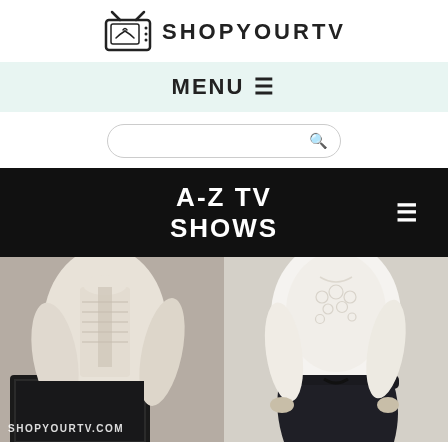SHOPYOURTV
MENU ≡
[Figure (screenshot): Search bar with magnifying glass icon]
A-Z TV SHOWS
[Figure (photo): Two side-by-side clothing images: left shows a person in a white lace blouse at a laptop; right shows a white lace blouse with black wide-leg pants on a model. Watermark: SHOPYOURTV.COM]
The Good Doctor: Season 5 Episode 10 Morgan's White Blouse